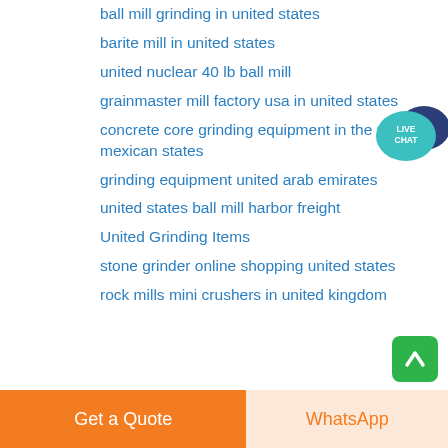ball mill grinding in united states
barite mill in united states
united nuclear 40 lb ball mill
grainmaster mill factory usa in united states
concrete core grinding equipment in the united mexican states
grinding equipment united arab emirates
united states ball mill harbor freight
United Grinding Items
stone grinder online shopping united states
rock mills mini crushers in united kingdom
[Figure (illustration): Live Chat speech bubble icon in teal/navy blue]
[Figure (illustration): Green scroll-to-top button with upward arrow]
Get a Quote
WhatsApp